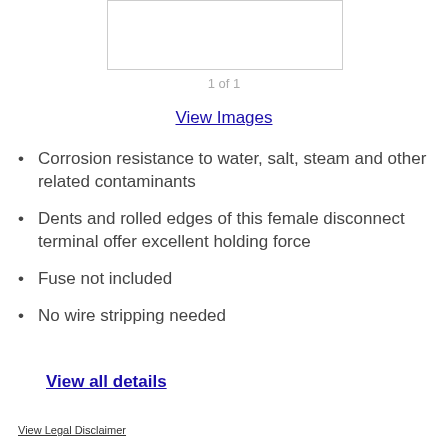[Figure (photo): Product image placeholder box]
1 of 1
View Images
Corrosion resistance to water, salt, steam and other related contaminants
Dents and rolled edges of this female disconnect terminal offer excellent holding force
Fuse not included
No wire stripping needed
View all details
View Legal Disclaimer